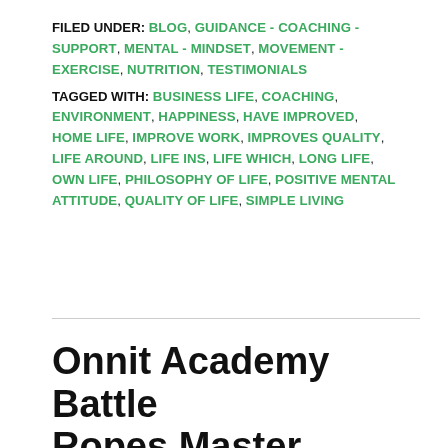FILED UNDER: BLOG, GUIDANCE - COACHING - SUPPORT, MENTAL - MINDSET, MOVEMENT - EXERCISE, NUTRITION, TESTIMONIALS
TAGGED WITH: BUSINESS LIFE, COACHING, ENVIRONMENT, HAPPINESS, HAVE IMPROVED, HOME LIFE, IMPROVE WORK, IMPROVES QUALITY, LIFE AROUND, LIFE INS, LIFE WHICH, LONG LIFE, OWN LIFE, PHILOSOPHY OF LIFE, POSITIVE MENTAL ATTITUDE, QUALITY OF LIFE, SIMPLE LIVING
Onnit Academy Battle Ropes Master Coach and Innovative Results